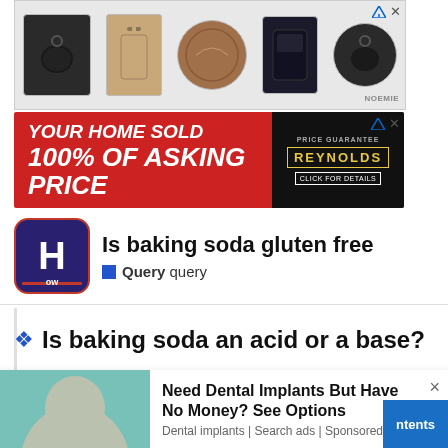[Figure (screenshot): Advertisement banner showing product images (AirPods cases, bags, wallets) with NOEMI branding and ad icons]
[Figure (screenshot): Advertisement banner: YOUR HOME SOLD 100% OF ASKING PRICE with Reynolds logo and real estate agent photo]
Is baking soda gluten free
Query  query
Is baking soda an acid or a base?
[Figure (screenshot): Pop-up advertisement: Need Dental Implants But Have No Money? See Options — Dental implants | Search ads | Sponsored, with image of woman at dentist]
ingre... acts
with a...
[Figure (screenshot): Bottom advertisement banner: YOUR HOME SOLD 100% OF ASKING PRICE with Reynolds logo and ntents tab]